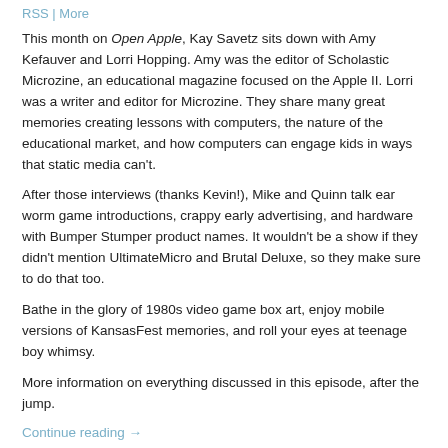RSS | More
This month on Open Apple, Kay Savetz sits down with Amy Kefauver and Lorri Hopping. Amy was the editor of Scholastic Microzine, an educational magazine focused on the Apple II. Lorri was a writer and editor for Microzine. They share many great memories creating lessons with computers, the nature of the educational market, and how computers can engage kids in ways that static media can't.
After those interviews (thanks Kevin!), Mike and Quinn talk ear worm game introductions, crappy early advertising, and hardware with Bumper Stumper product names. It wouldn't be a show if they didn't mention UltimateMicro and Brutal Deluxe, so they make sure to do that too.
Bathe in the glory of 1980s video game box art, enjoy mobile versions of KansasFest memories, and roll your eyes at teenage boy whimsy.
More information on everything discussed in this episode, after the jump.
Continue reading →